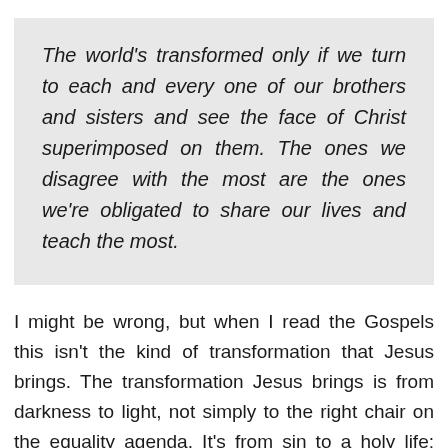The world's transformed only if we turn to each and every one of our brothers and sisters and see the face of Christ superimposed on them. The ones we disagree with the most are the ones we're obligated to share our lives and teach the most.
I might be wrong, but when I read the Gospels this isn't the kind of transformation that Jesus brings. The transformation Jesus brings is from darkness to light, not simply to the right chair on the equality agenda. It's from sin to a holy life; Cheating tax collectors repent, adulterers determine to sin no